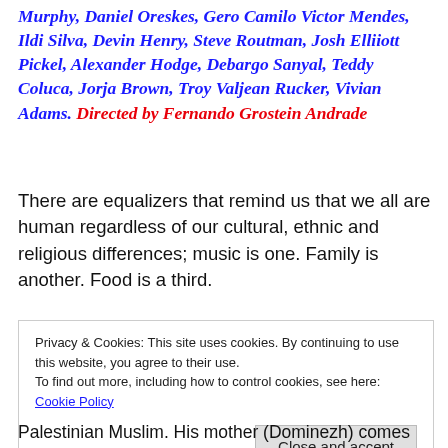Murphy, Daniel Oreskes, Gero Camilo Victor Mendes, Ildi Silva, Devin Henry, Steve Routman, Josh Elliiott Pickel, Alexander Hodge, Debargo Sanyal, Teddy Coluca, Jorja Brown, Troy Valjean Rucker, Vivian Adams. Directed by Fernando Grostein Andrade
There are equalizers that remind us that we all are human regardless of our cultural, ethnic and religious differences; music is one. Family is another. Food is a third.
Privacy & Cookies: This site uses cookies. By continuing to use this website, you agree to their use.
To find out more, including how to control cookies, see here: Cookie Policy
Close and accept
Palestinian Muslim. His mother (Dominezh) comes from